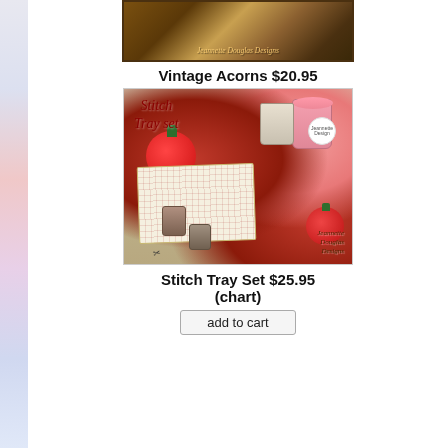[Figure (photo): Product cover image for Vintage Acorns cross stitch pattern by Jeannette Douglas Designs, showing a framed piece in dark wood frame]
Vintage Acorns $20.95
add to cart
[Figure (photo): Product cover image for Stitch Tray Set cross stitch pattern by Jeannette Douglas Designs, showing sewing accessories including tomato pin cushions, thread spools, scissors, and a stitched tray liner]
Stitch Tray Set $25.95 (chart)
add to cart